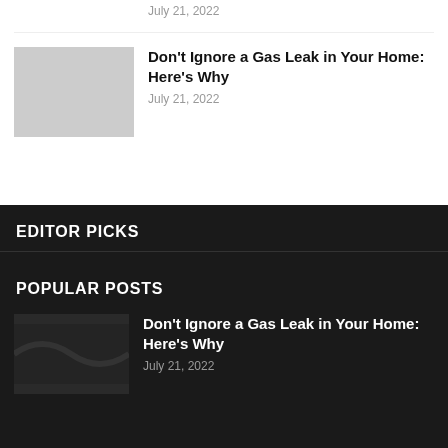July 21, 2022
Don't Ignore a Gas Leak in Your Home: Here's Why
July 21, 2022
EDITOR PICKS
POPULAR POSTS
Don't Ignore a Gas Leak in Your Home: Here's Why
July 21, 2022